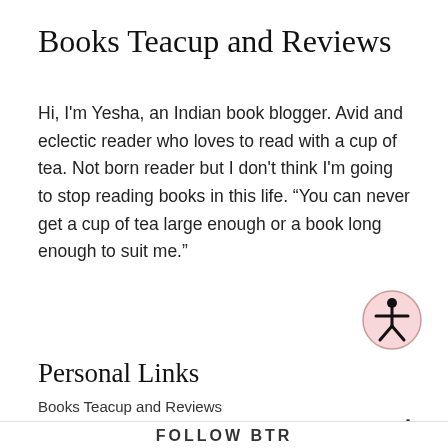Books Teacup and Reviews
Hi, I'm Yesha, an Indian book blogger. Avid and eclectic reader who loves to read with a cup of tea. Not born reader but I don't think I'm going to stop reading books in this life. “You can never get a cup of tea large enough or a book long enough to suit me.”
[Figure (illustration): Accessibility icon — a circle with pink background containing a stick figure person with arms outstretched]
Personal Links
Books Teacup and Reviews
View Full Profile →
[Figure (logo): Ko-fi support button with cup/heart icon and text 'Support Me' on a coral/salmon red rounded rectangle background]
FOLLOW BTR